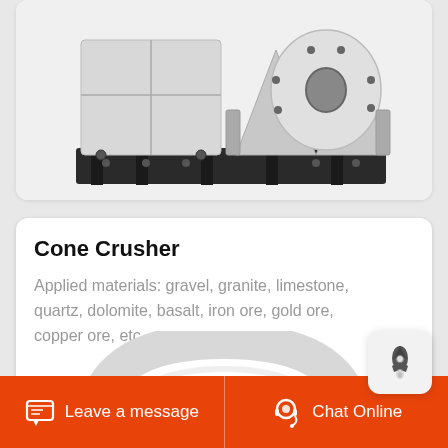[Figure (photo): Industrial jaw/hammer crusher machine, white and dark grey, viewed from front-left angle on a dark sled base]
Cone Crusher
Applied materials: gravel, granite, limestone, quartz, dolomite, basalt, iron ore, gold ore, copper ore, etc. ...
[Figure (photo): Cone crusher machine viewed from above, showing round white housing with cylindrical inner cone component]
Leave a message  Chat Online